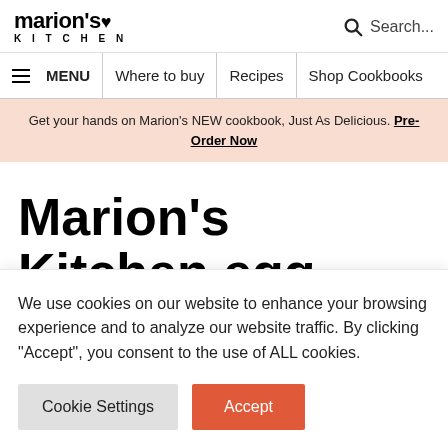marion's KITCHEN
Search...
≡ MENU | Where to buy | Recipes | Shop Cookbooks
Get your hands on Marion's NEW cookbook, Just As Delicious. Pre-Order Now
Marion's Kitchen egg
We use cookies on our website to enhance your browsing experience and to analyze our website traffic. By clicking "Accept", you consent to the use of ALL cookies.